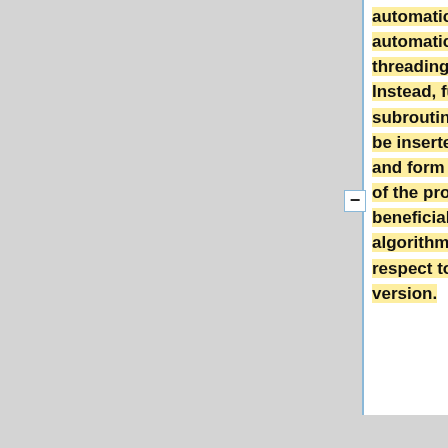automatically or semi-automatically as in "multi-threading" programs. Instead, function and subroutine calls have to be inserted into the code and form an integral part of the program. Often it is beneficial to alter the algorithm of the code with respect to the serial version.
| valign="top"